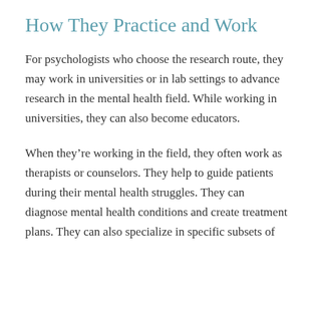How They Practice and Work
For psychologists who choose the research route, they may work in universities or in lab settings to advance research in the mental health field. While working in universities, they can also become educators.
When they're working in the field, they often work as therapists or counselors. They help to guide patients during their mental health struggles. They can diagnose mental health conditions and create treatment plans. They can also specialize in specific subsets of